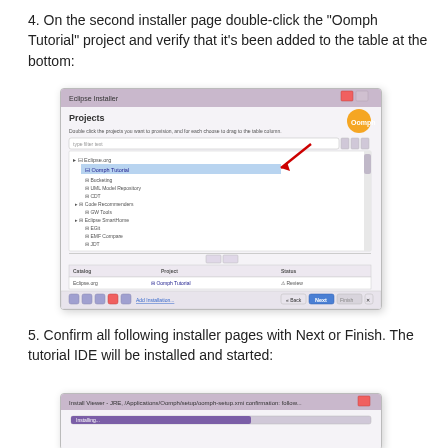4. On the second installer page double-click the "Oomph Tutorial" project and verify that it's been added to the table at the bottom:
[Figure (screenshot): Screenshot of Eclipse installer 'Projects' page showing a list of projects. 'Oomph Tutorial' is highlighted with a red arrow pointing to it in the list, and another red arrow pointing to it in the table at the bottom showing Catalog, Project (Oomph Tutorial), and Status (Review) columns. An Oomph logo is visible top right.]
5. Confirm all following installer pages with Next or Finish. The tutorial IDE will be installed and started:
[Figure (screenshot): Partial screenshot of the tutorial IDE being installed/started, showing a progress bar dialog with a red X close button visible.]